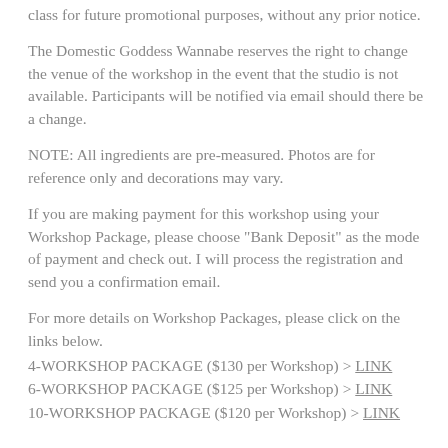class for future promotional purposes, without any prior notice.
The Domestic Goddess Wannabe reserves the right to change the venue of the workshop in the event that the studio is not available. Participants will be notified via email should there be a change.
NOTE: All ingredients are pre-measured. Photos are for reference only and decorations may vary.
If you are making payment for this workshop using your Workshop Package, please choose "Bank Deposit" as the mode of payment and check out. I will process the registration and send you a confirmation email.
For more details on Workshop Packages, please click on the links below.
4-WORKSHOP PACKAGE ($130 per Workshop) > LINK
6-WORKSHOP PACKAGE ($125 per Workshop) > LINK
10-WORKSHOP PACKAGE ($120 per Workshop) > LINK